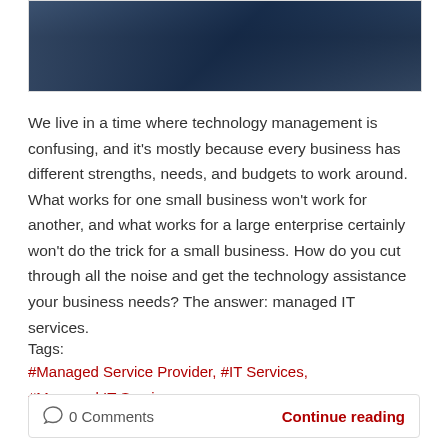[Figure (photo): Photo of a person in a data center or server room, dark blue tones with server racks visible in background]
We live in a time where technology management is confusing, and it's mostly because every business has different strengths, needs, and budgets to work around. What works for one small business won't work for another, and what works for a large enterprise certainly won't do the trick for a small business. How do you cut through all the noise and get the technology assistance your business needs? The answer: managed IT services.
Tags:
#Managed Service Provider, #IT Services,
#Managed IT Services
0 Comments    Continue reading